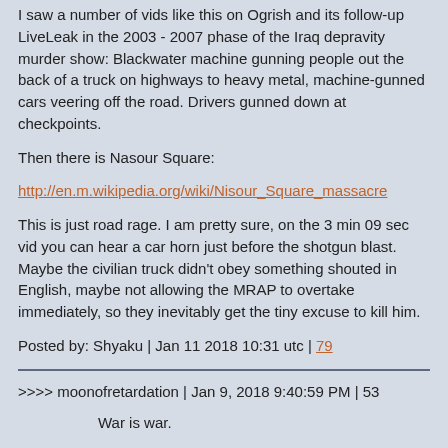I saw a number of vids like this on Ogrish and its follow-up LiveLeak in the 2003 - 2007 phase of the Iraq depravity murder show: Blackwater machine gunning people out the back of a truck on highways to heavy metal, machine-gunned cars veering off the road. Drivers gunned down at checkpoints.
Then there is Nasour Square:
http://en.m.wikipedia.org/wiki/Nisour_Square_massacre
This is just road rage. I am pretty sure, on the 3 min 09 sec vid you can hear a car horn just before the shotgun blast. Maybe the civilian truck didn't obey something shouted in English, maybe not allowing the MRAP to overtake immediately, so they inevitably get the tiny excuse to kill him.
Posted by: Shyaku | Jan 11 2018 10:31 utc | 79
>>>> moonofretardation | Jan 9, 2018 9:40:59 PM | 53
War is war.
What an ignorant and stupid comment. I'm guessing you're American and like most Americans, I suspect you really don't understand war. As Clausewitz said "war is the mere continuation of politics with other means" and that is why the United States has never been a success. American politics...